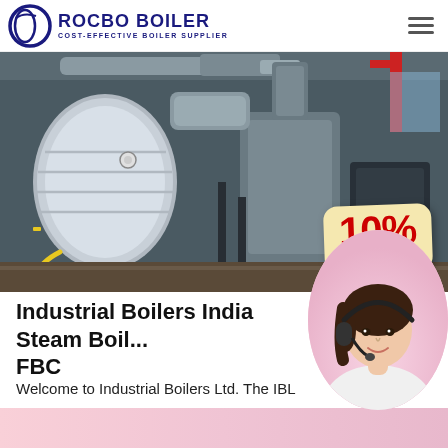ROCBO BOILER — COST-EFFECTIVE BOILER SUPPLIER
[Figure (photo): Industrial boiler room with large cylindrical boilers, metal ductwork, pipes, and industrial equipment inside a factory building. A 10% DISCOUNT badge overlaid in bottom-right corner.]
Industrial Boilers India Steam Boil... FBC
Welcome to Industrial Boilers Ltd. The IBL Group driven, industrial organisation specialising in Design and